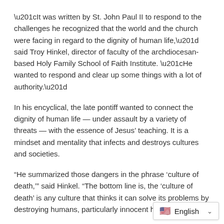“It was written by St. John Paul II to respond to the challenges he recognized that the world and the church were facing in regard to the dignity of human life,” said Troy Hinkel, director of faculty of the archdiocesan-based Holy Family School of Faith Institute. “He wanted to respond and clear up some things with a lot of authority.”
In his encyclical, the late pontiff wanted to connect the dignity of human life — under assault by a variety of threats — with the essence of Jesus’ teaching. It is a mindset and mentality that infects and destroys cultures and societies.
“He summarized those dangers in the phrase ‘culture of death,’” said Hinkel. “The bottom line is, the ‘culture of death’ is any culture that thinks it can solve its problems by destroying humans, particularly innocent humans.”
“Evangelium Vitae” deals with ab… experimentation on human emb…